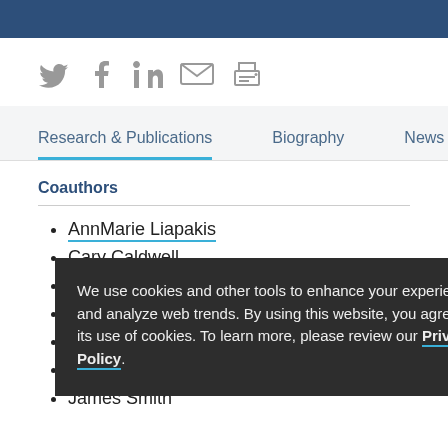[Figure (infographic): Social sharing icons: Twitter, Facebook, LinkedIn, Email, Print]
Research & Publications | Biography | News
Coauthors
AnnMarie Liapakis
Cary Caldwell
Chirag Parikh
D... [partially obscured]
Gary Israel
Gregory Tiction
James Smith
We use cookies and other tools to enhance your experience and analyze web trends. By using this website, you agree to its use of cookies. To learn more, please review our Privacy Policy.